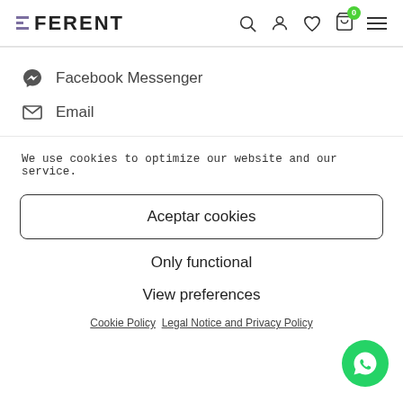FERENT
Facebook Messenger
Email
We use cookies to optimize our website and our service.
Aceptar cookies
Only functional
View preferences
Cookie Policy   Legal Notice and Privacy Policy